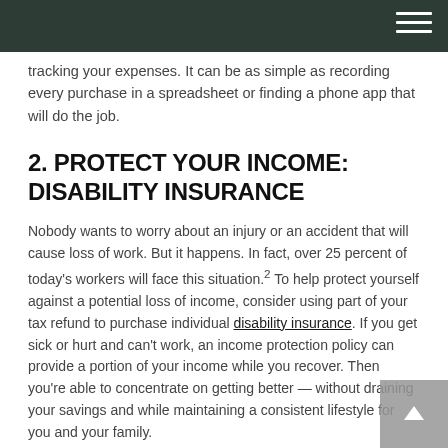tracking your expenses. It can be as simple as recording every purchase in a spreadsheet or finding a phone app that will do the job.
2. PROTECT YOUR INCOME: DISABILITY INSURANCE
Nobody wants to worry about an injury or an accident that will cause loss of work. But it happens. In fact, over 25 percent of today's workers will face this situation.² To help protect yourself against a potential loss of income, consider using part of your tax refund to purchase individual disability insurance. If you get sick or hurt and can't work, an income protection policy can provide a portion of your income while you recover. Then you're able to concentrate on getting better — without draining your savings and while maintaining a consistent lifestyle for you and your family.